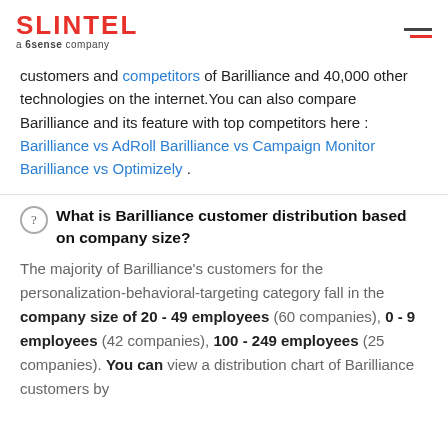SLINTEL a 6sense company
customers and competitors of Barilliance and 40,000 other technologies on the internet.You can also compare Barilliance and its feature with top competitors here : Barilliance vs AdRoll Barilliance vs Campaign Monitor Barilliance vs Optimizely .
What is Barilliance customer distribution based on company size?
The majority of Barilliance’s customers for the personalization-behavioral-targeting category fall in the company size of 20 - 49 employees (60 companies), 0 - 9 employees (42 companies), 100 - 249 employees (25 companies). You can view a distribution chart of Barilliance customers by company size below.